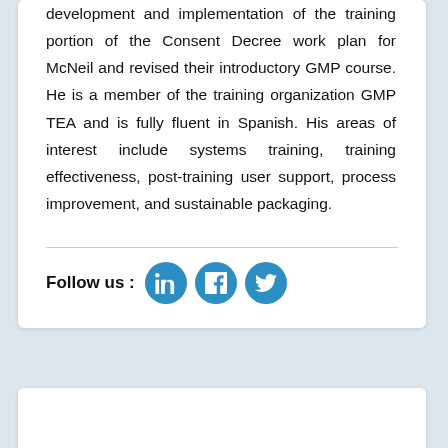development and implementation of the training portion of the Consent Decree work plan for McNeil and revised their introductory GMP course. He is a member of the training organization GMP TEA and is fully fluent in Spanish. His areas of interest include systems training, training effectiveness, post-training user support, process improvement, and sustainable packaging.
Follow us :